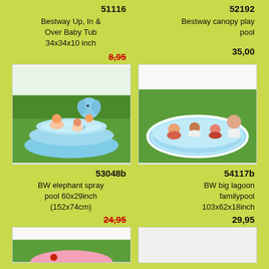51116
Bestway Up, In & Over Baby Tub 34x34x10 inch
8,95
52192
Bestway canopy play pool
35,00
[Figure (photo): Children playing in a blue inflatable elephant spray pool on grass]
[Figure (photo): Family in a large blue inflatable lagoon pool on grass]
53048b
BW elephant spray pool 60x29inch (152x74cm)
24,95
54117b
BW big lagoon familypool 103x62x18inch
29,95
[Figure (photo): Inflatable pool product image (partially visible)]
[Figure (photo): Inflatable pool product image (partially visible)]